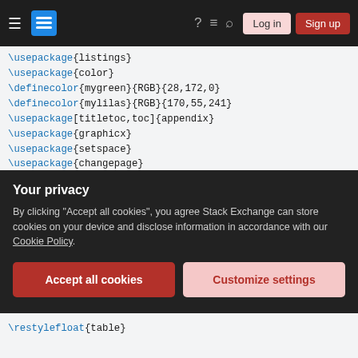Stack Exchange navigation bar with hamburger menu, logo, icons, Log in and Sign up buttons
\usepackage{listings}
\usepackage{color}
\definecolor{mygreen}{RGB}{28,172,0}
\definecolor{mylilas}{RGB}{170,55,241}
\usepackage[titletoc,toc]{appendix}
\usepackage{graphicx}
\usepackage{setspace}
\usepackage{changepage}
\usepackage[textwidth=16cm,textheight=24cm,
\usepackage[colorlinks,citecolor=red]{hyper
\hypersetup{colorlinks=true, linkcolor=blue
\usepackage{titlesec}
\titleformat{\chapter}[display]{\Large\cent
Your privacy
By clicking "Accept all cookies", you agree Stack Exchange can store cookies on your device and disclose information in accordance with our Cookie Policy.
Accept all cookies   Customize settings
\restylefloat{table}